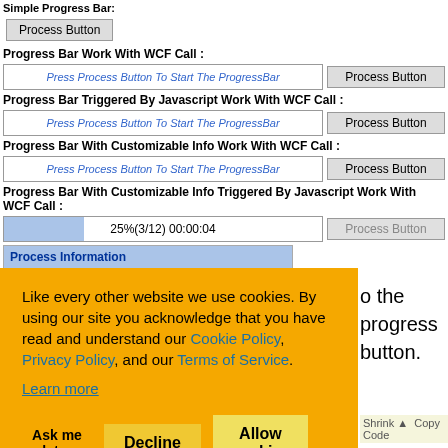Simple Progress Bar:
Process Button
Progress Bar Work With WCF Call :
Press Process Button To Start The ProgressBar
Process Button
Progress Bar Triggered By Javascript Work With WCF Call :
Press Process Button To Start The ProgressBar
Process Button
Progress Bar With Customizable Info Work With WCF Call :
Press Process Button To Start The ProgressBar
Process Button
Progress Bar With Customizable Info Triggered By Javascript Work With WCF Call :
25%(3/12) 00:00:04
Process Button
| Process Information |  |
| --- | --- |
| Employee No. | E003 |
| Last Hire Date | 03/01/2013 |
| Salary | $ 4103.16 |
Like every other website we use cookies. By using our site you acknowledge that you have read and understand our Cookie Policy, Privacy Policy, and our Terms of Service. Learn more
to the progress button.
Shrink ▲  Copy Code
sBarCT"
width  400  interval  100"
HideProgressBar="false"